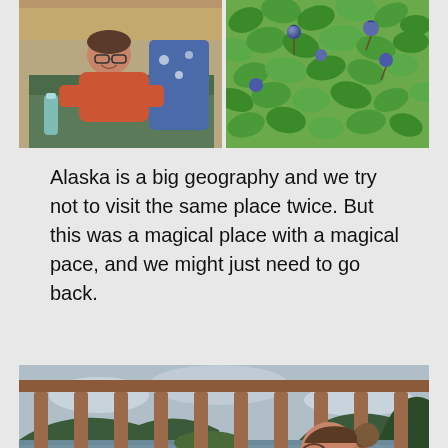[Figure (photo): Two side-by-side photos: left shows a woman relaxing on a couch indoors in a log cabin with a water bottle nearby, right shows blueberry plant with green leaves and blue berries]
Alaska is a big geography and we try not to visit the same place twice. But this was a magical place with a magical pace, and we might just need to go back.
[Figure (photo): A woman in a pink top sitting on a deck/balcony with wooden railings, looking out at a scenic view of water, forested hills, and cloudy sky in Alaska]